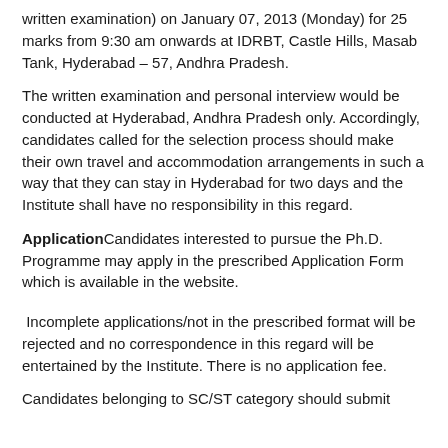written examination) on January 07, 2013 (Monday) for 25 marks from 9:30 am onwards at IDRBT, Castle Hills, Masab Tank, Hyderabad – 57, Andhra Pradesh.
The written examination and personal interview would be conducted at Hyderabad, Andhra Pradesh only. Accordingly, candidates called for the selection process should make their own travel and accommodation arrangements in such a way that they can stay in Hyderabad for two days and the Institute shall have no responsibility in this regard.
ApplicationCandidates interested to pursue the Ph.D. Programme may apply in the prescribed Application Form which is available in the website.
Incomplete applications/not in the prescribed format will be rejected and no correspondence in this regard will be entertained by the Institute. There is no application fee.
Candidates belonging to SC/ST category should submit